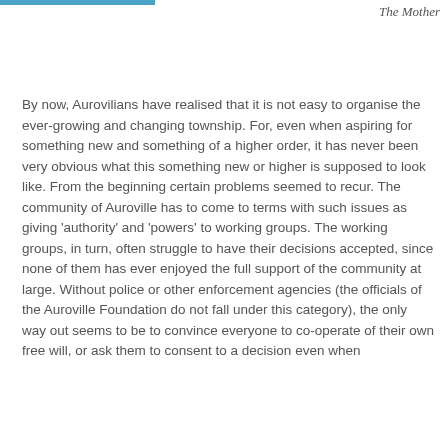The Mother
By now, Aurovilians have realised that it is not easy to organise the ever-growing and changing township. For, even when aspiring for something new and something of a higher order, it has never been very obvious what this something new or higher is supposed to look like. From the beginning certain problems seemed to recur. The community of Auroville has to come to terms with such issues as giving 'authority' and 'powers' to working groups. The working groups, in turn, often struggle to have their decisions accepted, since none of them has ever enjoyed the full support of the community at large. Without police or other enforcement agencies (the officials of the Auroville Foundation do not fall under this category), the only way out seems to be to convince everyone to co-operate of their own free will, or ask them to consent to a decision even when